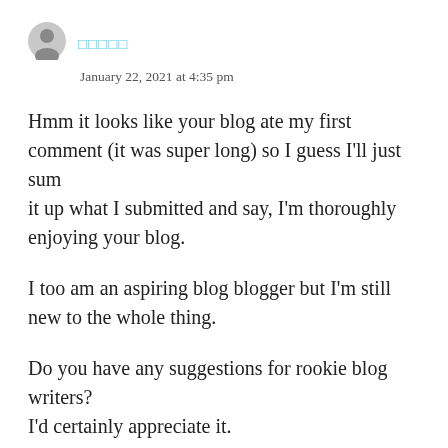[Figure (illustration): Generic user avatar icon — gray silhouette of a person in a circle]
□□□□□
January 22, 2021 at 4:35 pm
Hmm it looks like your blog ate my first comment (it was super long) so I guess I'll just sum it up what I submitted and say, I'm thoroughly enjoying your blog.
I too am an aspiring blog blogger but I'm still new to the whole thing.
Do you have any suggestions for rookie blog writers?
I'd certainly appreciate it.